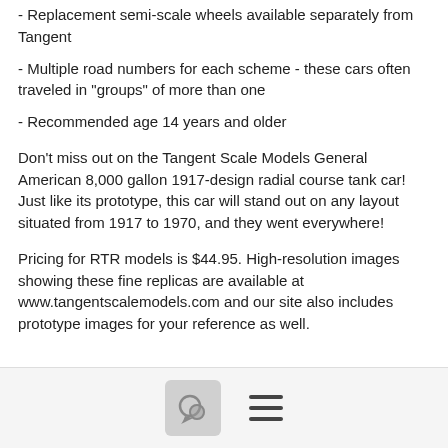- Replacement semi-scale wheels available separately from Tangent
- Multiple road numbers for each scheme - these cars often traveled in "groups" of more than one
- Recommended age 14 years and older
Don't miss out on the Tangent Scale Models General American 8,000 gallon 1917-design radial course tank car!  Just like its prototype, this car will stand out on any layout situated from 1917 to 1970, and they went everywhere!
Pricing for RTR models is $44.95.  High-resolution images showing these fine replicas are available at www.tangentscalemodels.com and our site also includes prototype images for your reference as well.
[Figure (other): Comment/chat icon button and hamburger menu icon in a footer bar]